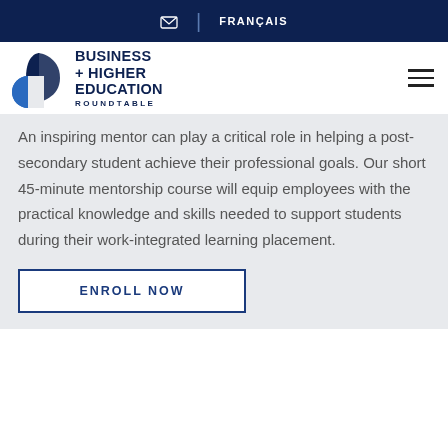✉  |  FRANÇAIS
[Figure (logo): Business + Higher Education Roundtable logo with circular blue graphic and text]
An inspiring mentor can play a critical role in helping a post-secondary student achieve their professional goals. Our short 45-minute mentorship course will equip employees with the practical knowledge and skills needed to support students during their work-integrated learning placement.
ENROLL NOW